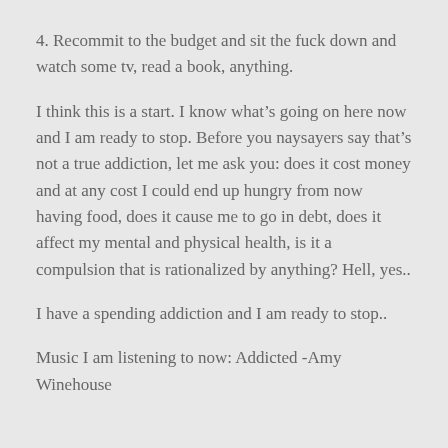4. Recommit to the budget and sit the fuck down and watch some tv, read a book, anything.
I think this is a start. I know what’s going on here now and I am ready to stop. Before you naysayers say that’s not a true addiction, let me ask you: does it cost money and at any cost I could end up hungry from now having food, does it cause me to go in debt, does it affect my mental and physical health, is it a compulsion that is rationalized by anything? Hell, yes..
I have a spending addiction and I am ready to stop..
Music I am listening to now: Addicted -Amy Winehouse